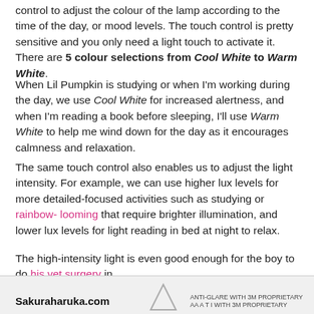control to adjust the colour of the lamp according to the time of the day, or mood levels. The touch control is pretty sensitive and you only need a light touch to activate it. There are 5 colour selections from Cool White to Warm White.
When Lil Pumpkin is studying or when I'm working during the day, we use Cool White for increased alertness, and when I'm reading a book before sleeping, I'll use Warm White to help me wind down for the day as it encourages calmness and relaxation.
The same touch control also enables us to adjust the light intensity. For example, we can use higher lux levels for more detailed-focused activities such as studying or rainbow-looming that require brighter illumination, and lower lux levels for light reading in bed at night to relax.
The high-intensity light is even good enough for the boy to do his vet surgery in..
Sakuraharuka.com  ANTI-GLARE WITH 3M PROPRIETARY ...